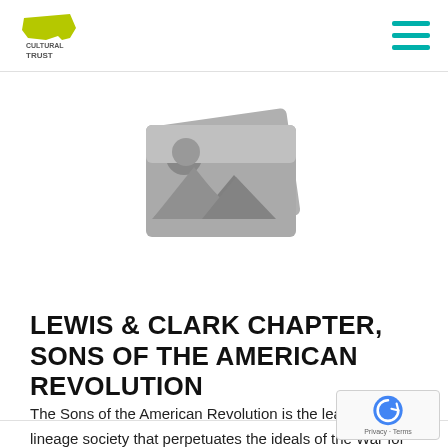Oregon Cultural Trust
[Figure (illustration): Gray placeholder image icon showing overlapping photos with mountain and sun graphic]
LEWIS & CLARK CHAPTER, SONS OF THE AMERICAN REVOLUTION
The Sons of the American Revolution is the leading male lineage society that perpetuates the ideals of the War for Independence. As a historical, educational, and patriotic, non-profit...